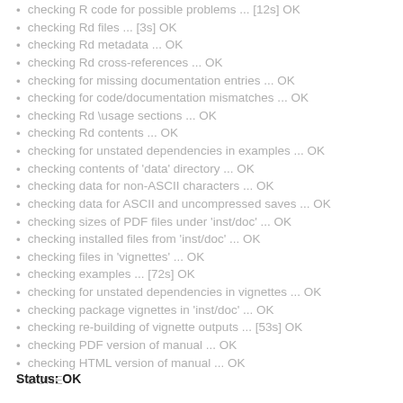checking R code for possible problems ... [12s] OK
checking Rd files ... [3s] OK
checking Rd metadata ... OK
checking Rd cross-references ... OK
checking for missing documentation entries ... OK
checking for code/documentation mismatches ... OK
checking Rd \usage sections ... OK
checking Rd contents ... OK
checking for unstated dependencies in examples ... OK
checking contents of 'data' directory ... OK
checking data for non-ASCII characters ... OK
checking data for ASCII and uncompressed saves ... OK
checking sizes of PDF files under 'inst/doc' ... OK
checking installed files from 'inst/doc' ... OK
checking files in 'vignettes' ... OK
checking examples ... [72s] OK
checking for unstated dependencies in vignettes ... OK
checking package vignettes in 'inst/doc' ... OK
checking re-building of vignette outputs ... [53s] OK
checking PDF version of manual ... OK
checking HTML version of manual ... OK
DONE
Status: OK